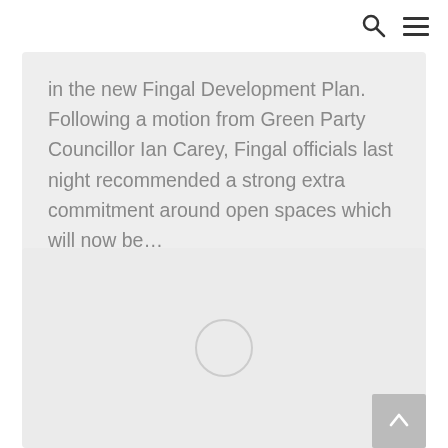Search and Menu icons in header navigation
in the new Fingal Development Plan. Following a motion from Green Party Councillor Ian Carey, Fingal officials last night recommended a strong extra commitment around open spaces which will now be…
[Figure (photo): Gray placeholder image card with a loading circle indicator in the center]